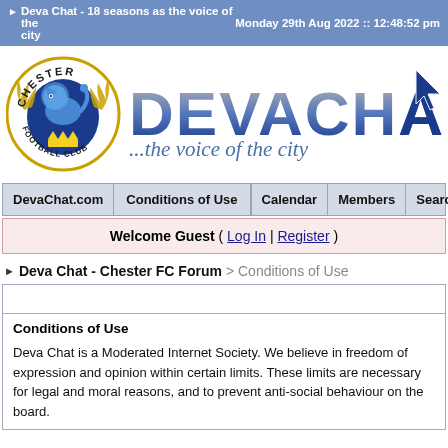Deva Chat - 18 seasons as the voice of the city | Monday 29th Aug 2022 :: 12:48:52 pm
[Figure (logo): Chester Football Club badge (blue lion, gold laurels, crown) and DevaChat logo with tagline '...the voice of the city']
| DevaChat.com | Conditions of Use |  | Calendar | Members | Search | Help |
| --- | --- | --- | --- | --- | --- | --- |
Welcome Guest ( Log In | Register )
Deva Chat - Chester FC Forum > Conditions of Use
Conditions of Use
Deva Chat is a Moderated Internet Society. We believe in freedom of expression and opinion within certain limits. These limits are necessary for legal and moral reasons, and to prevent anti-social behaviour on the board.